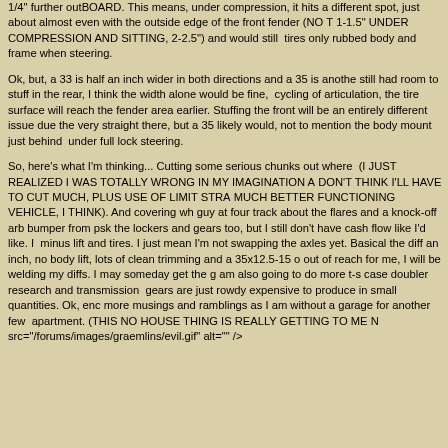1/4" further outBOARD. This means, under compression, it hits a different spot, just about almost even with the outside edge of the front fender (NO TIRE PATCH 1-1.5" UNDER COMPRESSION AND SITTING, 2-2.5") and would still rub. The front tires only rubbed body and frame when steering.
Ok, but, a 33 is half an inch wider in both directions and a 35 is another inch. Where I still had room to stuff in the rear, I think the width alone would be fine, but due to the cycling of articulation, the tire surface will reach the fender area earlier. A 33 won't rub there, but a 35 likely would, not to mention the body mount just behind the front fender under full lock steering.
So, here's what I'm thinking... Cutting some serious chunks out where necessary. (I JUST REALIZED I WAS TOTALLY WRONG IN MY IMAGINATION A WHILE AGO, I DON'T THINK I'LL HAVE TO CUT MUCH, PLUS USE OF LIMIT STRAPS MAKES A MUCH BETTER FUNCTIONING VEHICLE, I THINK). And covering what I can with a guy at four track about the flares and a knock-off arb bumper from psk. I do want the lockers and gears too, but I still don't have cash flow like I'd like. I was speaking minus lift and tires. I just mean I'm not swapping the axles yet. Basically, drop the diff an inch, no body lift, lots of clean trimming and a 35x12.5-15 on it. Lockers are out of reach for me, I will be welding my diffs. I may someday get the gears in there. I am also going to do more t-s case doubler research and transmission research. Low range gears are just rowdy expensive to produce in small quantities. Ok, enough of my more musings and ramblings as I am without a garage for another few days in my apartment. (THIS NO HOUSE THING IS REALLY GETTING TO ME NOW) <img src="/forums/images/graemlins/evil.gif" alt="" />